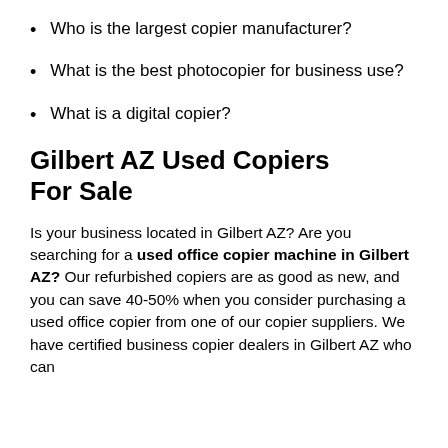Who is the largest copier manufacturer?
What is the best photocopier for business use?
What is a digital copier?
Gilbert AZ Used Copiers For Sale
Is your business located in Gilbert AZ? Are you searching for a used office copier machine in Gilbert AZ? Our refurbished copiers are as good as new, and you can save 40-50% when you consider purchasing a used office copier from one of our copier suppliers. We have certified business copier dealers in Gilbert AZ who can